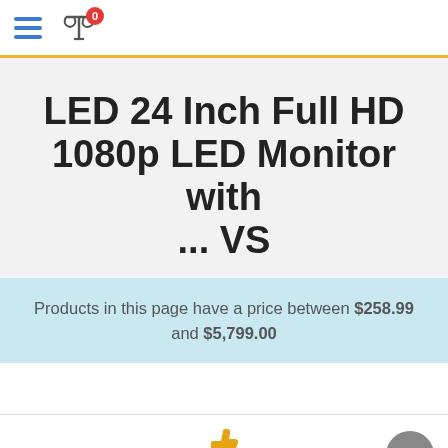Menu | Compare (0)
LED 24 Inch Full HD 1080p LED Monitor with ... VS
Products in this page have a price between $258.99 and $5,799.00
Product comparison
4 products added